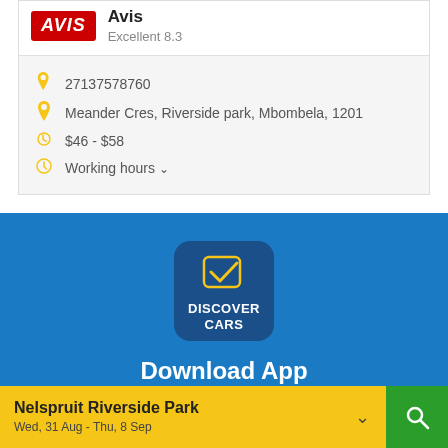[Figure (logo): Avis car rental logo - red background with white italic AVIS text]
Avis
Excellent 8.3
27137578760
Meander Cres, Riverside park, Mbombela, 1201
$46 - $58
Working hours
[Figure (logo): Discover Cars app logo - dark blue rounded square with yellow checkmark icon and white DISCOVER CARS text]
Download App
Book and manage your booking on the go
Nelspruit Riverside Park
Wed, 31 Aug - Thu, 8 Sep